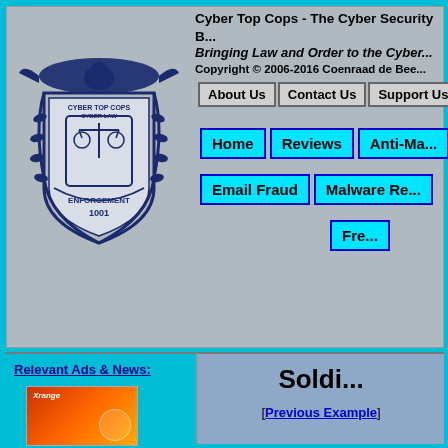Cyber Top Cops - The Cyber Security B... Bringing Law and Order to the Cyber... Copyright © 2006-2016 Coenraad de Bee...
[Figure (logo): Cyber Top Cops badge/shield logo with eagle, scales of justice, and text reading CYBER TOP COPS, CYBER LAW, ENFORCEMENT 1001]
About Us | Contact Us | Support Us
Home | Reviews | Anti-Ma... | Email Fraud | Malware Re... | Fre...
Relevant Ads & News:
[Figure (photo): Product box with orange/red gradient design and Xrange logo]
Soldi...
[Previous Example]